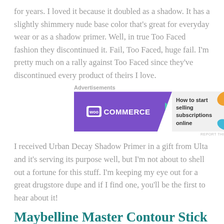for years.  I loved it because it doubled as a shadow.  It has a slightly shimmery nude base color that’s great for everyday wear or as a shadow primer.  Well, in true Too Faced fashion they discontinued it.  Fail, Too Faced, huge fail.  I’m pretty much on a rally against Too Faced since they’ve discontinued every product of theirs I love.
[Figure (other): WooCommerce advertisement banner: purple left panel with WooCommerce logo, gray right panel with text 'How to start selling subscriptions online', decorative orange and blue shapes on right edge. Labeled 'Advertisements' above and 'REPORT THIS AD' below.]
I received Urban Decay Shadow Primer in a gift from Ulta and it’s serving its purpose well, but I’m not about to shell out a fortune for this stuff.  I’m keeping my eye out for a great drugstore dupe and if I find one, you’ll be the first to hear about it!
Maybelline Master Contour Stick